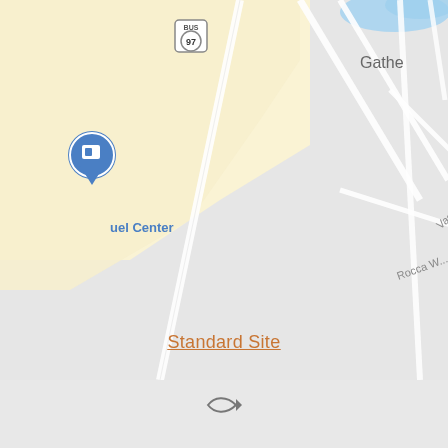[Figure (map): Google Maps screenshot showing a road map with streets including Vassar Pl and Rocca W, a BUS 97 highway marker, a blue water body at top, a yellow/cream shaded area at left with a fuel/gas station pin labeled 'uel Center', and partial text 'Gathe' at top right. The lower portion is a plain light gray map area.]
Standard Site
[Figure (other): Small fish/ichthys symbol icon in gray]